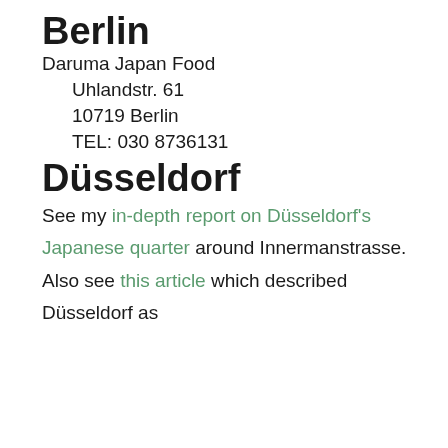Berlin
Daruma Japan Food
Uhlandstr. 61
10719 Berlin
TEL: 030 8736131
Düsseldorf
See my in-depth report on Düsseldorf's Japanese quarter around Innermanstrasse. Also see this article which described Düsseldorf as